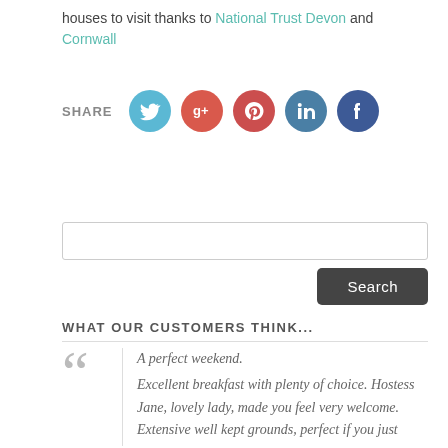houses to visit thanks to National Trust Devon and Cornwall
[Figure (infographic): Social share row with icons: Twitter (blue), Google+ (red), Pinterest (red-orange), LinkedIn (blue-grey), Facebook (dark blue), preceded by SHARE label]
[Figure (other): Search input box and Search button]
WHAT OUR CUSTOMERS THINK...
A perfect weekend. Excellent breakfast with plenty of choice. Hostess Jane, lovely lady, made you feel very welcome. Extensive well kept grounds, perfect if you just